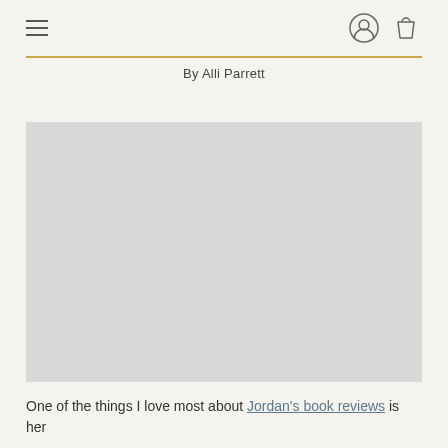≡  [user icon] [bag icon]
By Alli Parrett
[Figure (photo): A large gray placeholder image block occupying the central portion of the page.]
One of the things I love most about Jordan's book reviews is her